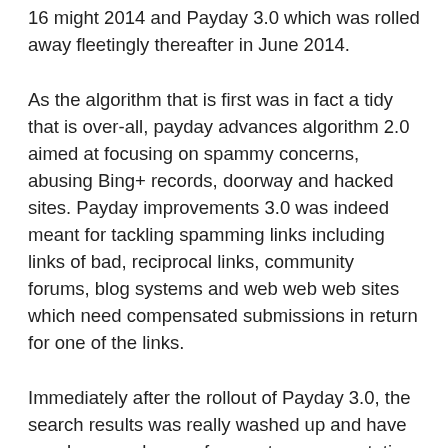16 might 2014 and Payday 3.0 which was rolled away fleetingly thereafter in June 2014.
As the algorithm that is first was in fact a tidy that is over-all, payday advances algorithm 2.0 aimed at focusing on spammy concerns, abusing Bing+ records, doorway and hacked sites. Payday improvements 3.0 was indeed meant for tackling spamming links including links of bad, reciprocal links, community forums, blog systems and web web web sites which need compensated submissions in return for one of the links.
Immediately after the rollout of Payday 3.0, the search results was really washed up and have now because been a far greater representation of simply simply precisely how positioning for pay check loans should really be by showing organizations that are genuine.
Analytics the help that is best help Guide to Forum link constructing in 2020.